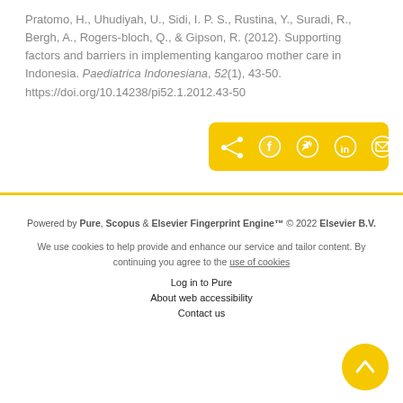Pratomo, H., Uhudiyah, U., Sidi, I. P. S., Rustina, Y., Suradi, R., Bergh, A., Rogers-bloch, Q., & Gipson, R. (2012). Supporting factors and barriers in implementing kangaroo mother care in Indonesia. Paediatrica Indonesiana, 52(1), 43-50. https://doi.org/10.14238/pi52.1.2012.43-50
[Figure (other): Social share bar with icons for share, Facebook, Twitter, LinkedIn, and email on a yellow background]
Powered by Pure, Scopus & Elsevier Fingerprint Engine™ © 2022 Elsevier B.V.
We use cookies to help provide and enhance our service and tailor content. By continuing you agree to the use of cookies
Log in to Pure
About web accessibility
Contact us